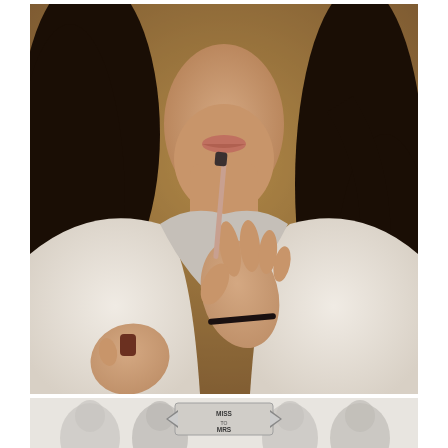[Figure (photo): Close-up photo of a young woman with dark wavy hair, wearing a white satin robe, applying pink lip gloss. She holds the lip gloss wand near her lips with one hand and the cap in the other hand. She wears a thin black bracelet on her wrist. The background is warm and blurred.]
[Figure (photo): Partial view of a second photo showing a 'MISS TO MRS' banner/frame with a group of women posing behind it, rendered in a lighter, slightly faded style.]